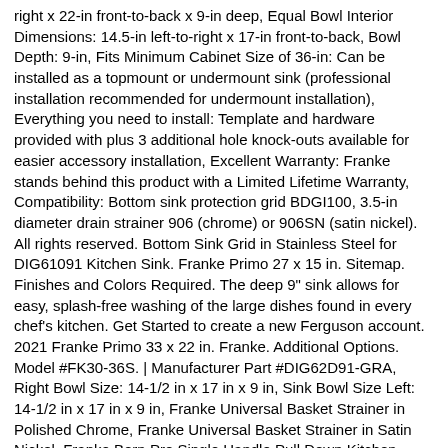right x 22-in front-to-back x 9-in deep, Equal Bowl Interior Dimensions: 14.5-in left-to-right x 17-in front-to-back, Bowl Depth: 9-in, Fits Minimum Cabinet Size of 36-in: Can be installed as a topmount or undermount sink (professional installation recommended for undermount installation), Everything you need to install: Template and hardware provided with plus 3 additional hole knock-outs available for easier accessory installation, Excellent Warranty: Franke stands behind this product with a Limited Lifetime Warranty, Compatibility: Bottom sink protection grid BDGI100, 3.5-in diameter drain strainer 906 (chrome) or 906SN (satin nickel). All rights reserved. Bottom Sink Grid in Stainless Steel for DIG61091 Kitchen Sink. Franke Primo 27 x 15 in. Sitemap. Finishes and Colors Required. The deep 9" sink allows for easy, splash-free washing of the large dishes found in every chef's kitchen. Get Started to create a new Ferguson account. 2021 Franke Primo 33 x 22 in. Franke. Additional Options. Model #FK30-36S. | Manufacturer Part #DIG62D91-GRA, Right Bowl Size: 14-1/2 in x 17 in x 9 in, Sink Bowl Size Left: 14-1/2 in x 17 in x 9 in, Franke Universal Basket Strainer in Polished Chrome, Franke Universal Basket Strainer in Satin Nickel, Franke Bern Pro Single Handle Pull Down Kitchen Faucet in Stainless Steel, Franke Primo 27 x 15 in. Available as an inset sink, undermount sink or even a corner sink.